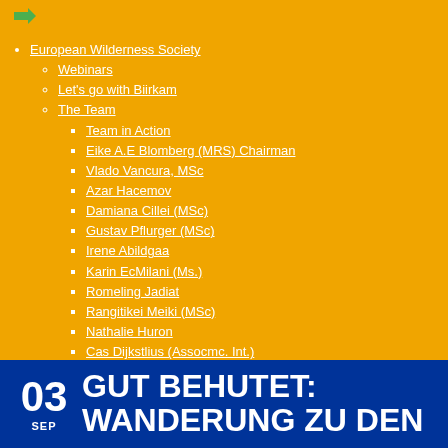European Wilderness Society
Webinars
Let's go with Biirkam
The Team
Team in Action
Eike A.E Blomberg (MRS) Chairman
Vlado Vancura, MSc
Azar Hacemov
Damiana Cillei (MSc)
Gustav Pflurger (MSc)
Irene Abildgaa
Karin EcMilani (Ms.)
Romeling Jadiat
Rangitikei Meiki (MSc)
Nathalie Huron
Cas Dijkstlius (Assocmc. Int.)
Theresa Lulu
Victoria Stockhus
Funders
IUCN/SSC Banaborc Recover Campaign
Partners
Newsletter
GUT BEHUTET: WANDERUNG ZU DEN
03 SEP